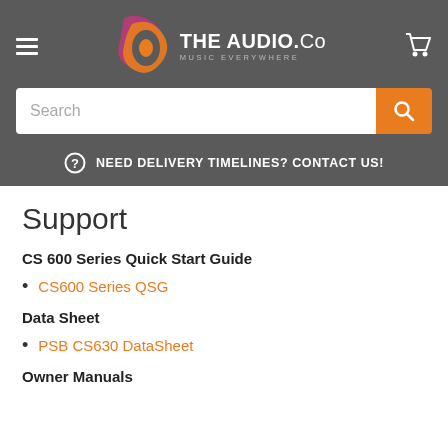THE AUDIO.Co — MUSIC EVERYWHERE
Search
NEED DELIVERY TIMELINES? CONTACT US!
Support
CS 600 Series Quick Start Guide
CS600 Series QSG
Data Sheet
PSB CS630 DataSheet
Owner Manuals